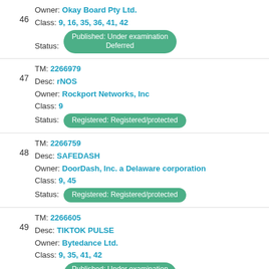46 Owner: Okay Board Pty Ltd. Class: 9, 16, 35, 36, 41, 42 Status: Published: Under examination Deferred
47 TM: 2266979 Desc: rNOS Owner: Rockport Networks, Inc Class: 9 Status: Registered: Registered/protected
48 TM: 2266759 Desc: SAFEDASH Owner: DoorDash, Inc. a Delaware corporation Class: 9, 45 Status: Registered: Registered/protected
49 TM: 2266605 Desc: TIKTOK PULSE Owner: Bytedance Ltd. Class: 9, 35, 41, 42 Status: Published: Under examination Deferred
50 TM: 2266244 Desc: MEANING CIRCLE Owner: MeaningSphere, LLC Class: 9, 42